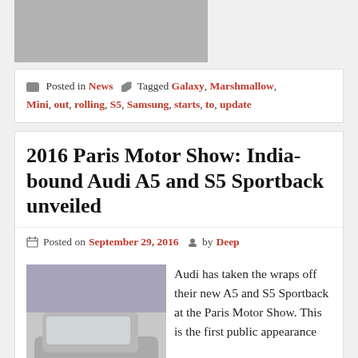[Figure (photo): Gray placeholder image at top of page, partially visible]
Posted in News   Tagged Galaxy, Marshmallow, Mini, out, rolling, S5, Samsung, starts, to, update
2016 Paris Motor Show: India-bound Audi A5 and S5 Sportback unveiled
Posted on September 29, 2016  by Deep
[Figure (photo): Photo of Audi A5/S5 Sportback at Paris Motor Show, silver car on display]
Audi has taken the wraps off their new A5 and S5 Sportback at the Paris Motor Show. This is the first public appearance
of the cars that were recently revealed through images